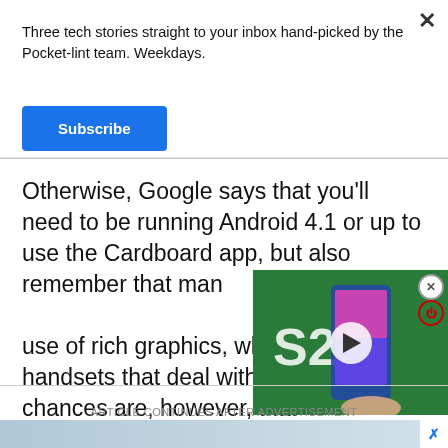Three tech stories straight to your inbox hand-picked by the Pocket-lint team. Weekdays.
Subscribe
Otherwise, Google says that you'll need to be running Android 4.1 or up to use the Cardboard app, but also remember that many of the visuals make use of rich graphics, which favour handsets that deal with those well. The chances are, however, that any modern smartphone will fit into a Google Cardboard viewer, you'll be able to use it.
[Figure (screenshot): Video player overlay showing Samsung S22+ promotional content with a play button in the center and a power icon in the top right corner]
ARTICLE CONTINUES AFTER ADVERTISEMENT